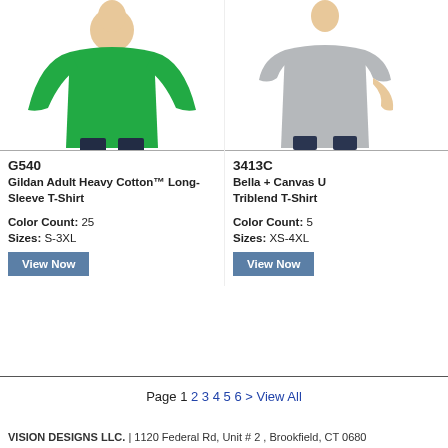[Figure (photo): Man wearing green Gildan long-sleeve t-shirt]
[Figure (photo): Man wearing gray Bella+Canvas t-shirt (partially visible, cropped on right)]
G540
3413C
Gildan Adult Heavy Cotton™ Long-Sleeve T-Shirt
Bella + Canvas U Triblend T-Shirt
Color Count:  25
Color Count:  5
Sizes:   S-3XL
Sizes:   XS-4XL
View Now
View Now
Page  1 2 3 4 5 6 >  View All
VISION DESIGNS LLC. | 1120 Federal Rd, Unit # 2 , Brookfield, CT 0680